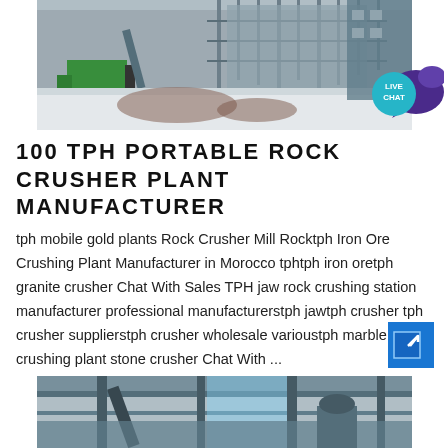[Figure (photo): Industrial rock crusher plant facility with scaffolding, green machinery, and snow on the ground]
[Figure (other): Live Chat button — dark blue speech bubble with LIVE CHAT text]
100 TPH PORTABLE ROCK CRUSHER PLANT MANUFACTURER
tph mobile gold plants Rock Crusher Mill Rocktph Iron Ore Crushing Plant Manufacturer in Morocco tphtph iron oretph granite crusher Chat With Sales TPH jaw rock crushing station manufacturer professional manufacturerstph jawtph crusher tph crusher supplierstph crusher wholesale varioustph marble crushing plant stone crusher Chat With ...
[Figure (other): Blue square arrow/link button icon]
[Figure (photo): Industrial conveyor and crushing plant machinery interior view]